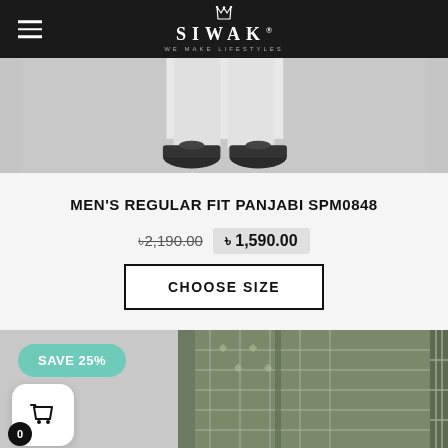SIWAK
[Figure (photo): Bottom half of a man wearing white panjabi/kurta and shoes, product photo on grey background]
MEN'S REGULAR FIT PANJABI SPM0848
৳2,190.00  ৳ 1,590.00
CHOOSE SIZE
[Figure (photo): Man wearing olive/dark green printed panjabi kurta with fabric swatch, SAVE 25% badge overlay]